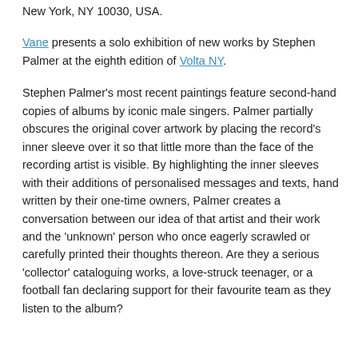New York, NY 10030, USA.
Vane presents a solo exhibition of new works by Stephen Palmer at the eighth edition of Volta NY.
Stephen Palmer's most recent paintings feature second-hand copies of albums by iconic male singers. Palmer partially obscures the original cover artwork by placing the record's inner sleeve over it so that little more than the face of the recording artist is visible. By highlighting the inner sleeves with their additions of personalised messages and texts, hand written by their one-time owners, Palmer creates a conversation between our idea of that artist and their work and the 'unknown' person who once eagerly scrawled or carefully printed their thoughts thereon. Are they a serious 'collector' cataloguing works, a love-struck teenager, or a football fan declaring support for their favourite team as they listen to the album?